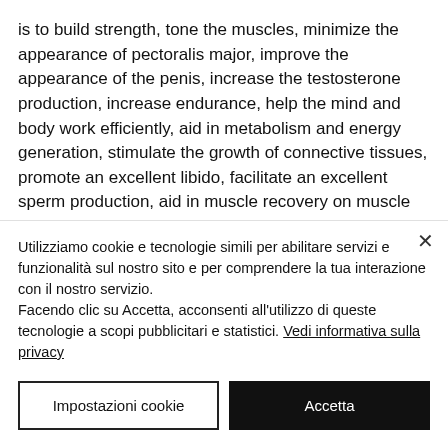is to build strength, tone the muscles, minimize the appearance of pectoralis major, improve the appearance of the penis, increase the testosterone production, increase endurance, help the mind and body work efficiently, aid in metabolism and energy generation, stimulate the growth of connective tissues, promote an excellent libido, facilitate an excellent sperm production, aid in muscle recovery on muscle failure, and help with increased
Utilizziamo cookie e tecnologie simili per abilitare servizi e funzionalità sul nostro sito e per comprendere la tua interazione con il nostro servizio. Facendo clic su Accetta, acconsenti all'utilizzo di queste tecnologie a scopi pubblicitari e statistici. Vedi informativa sulla privacy